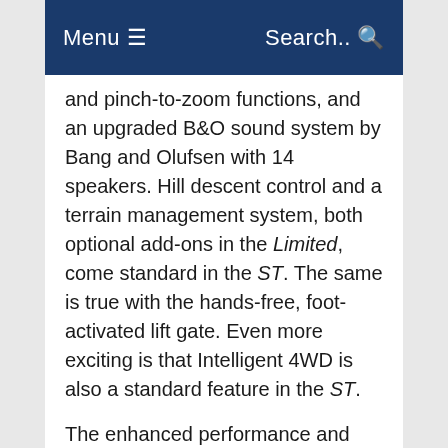Menu ☰   Search..🔍
and pinch-to-zoom functions, and an upgraded B&O sound system by Bang and Olufsen with 14 speakers. Hill descent control and a terrain management system, both optional add-ons in the Limited, come standard in the ST. The same is true with the hands-free, foot-activated lift gate. Even more exciting is that Intelligent 4WD is also a standard feature in the ST.
The enhanced performance and sport features make the ST stand apart from the Limited. If you are looking for your Explorer to have this type of capacity, then the ST is the clear choice in this comparison. If this type of performance is